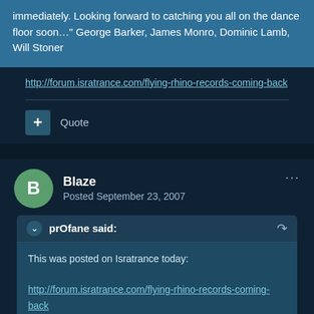immediately. Looking forward to catching you all on the dance floor soon…" George Barker, James Monro, Dominic Lamb, Will Stoner
http://forum.isratrance.com/flying-rhino-records-coming-back
Quote
Blaze
Posted September 23, 2007
prOfane said:
This was posted on Isratrance today:

http://forum.isratrance.com/flying-rhino-records-coming-back